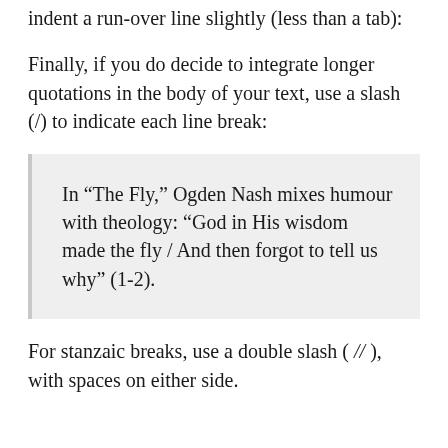indent a run-over line slightly (less than a tab):
Finally, if you do decide to integrate longer quotations in the body of your text, use a slash (/) to indicate each line break:
In “The Fly,” Ogden Nash mixes humour with theology: “God in His wisdom made the fly / And then forgot to tell us why” (1-2).
For stanzaic breaks, use a double slash ( // ), with spaces on either side.